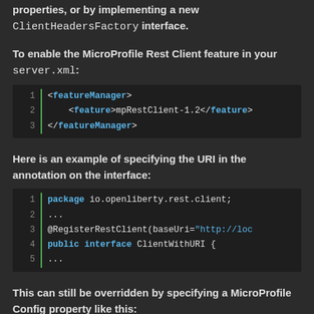properties, or by implementing a new ClientHeadersFactory interface.
To enable the MicroProfile Rest Client feature in your server.xml:
[Figure (screenshot): Code block showing XML featureManager configuration: <featureManager>, <feature>mpRestClient-1.2</feature>, </featureManager>]
Here is an example of specifying the URI in the annotation on the interface:
[Figure (screenshot): Code block showing Java code: package io.openliberty.rest.client; ... @RegisterRestClient(baseUri="http://loc public interface ClientWithURI { ...]
This can still be overridden by specifying a MicroProfile Config property like this: